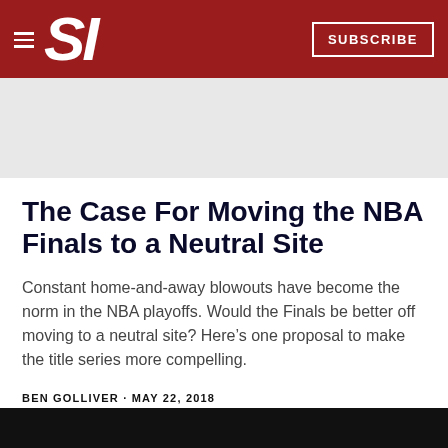SI SUBSCRIBE
The Case For Moving the NBA Finals to a Neutral Site
Constant home-and-away blowouts have become the norm in the NBA playoffs. Would the Finals be better off moving to a neutral site? Here’s one proposal to make the title series more compelling.
BEN GOLLIVER · MAY 22, 2018